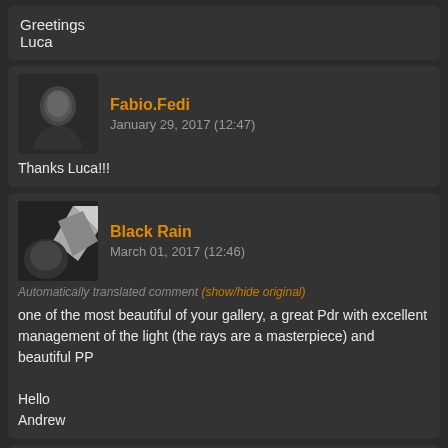Greetings
Luca
Fabio.Fedi
January 29, 2017 (12:47)
Thanks Luca!!!
Black Rain
March 01, 2017 (12:46)
Automatically translated comment (show/hide original)
one of the most beautiful of your gallery, a great Pdr with excellent management of the light (the rays are a masterpiece) and beautiful PP

Hello
Andrew
Fabio.Fedi
March 10, 2017 (12:01)
Automatically translated comment (show/hide original)